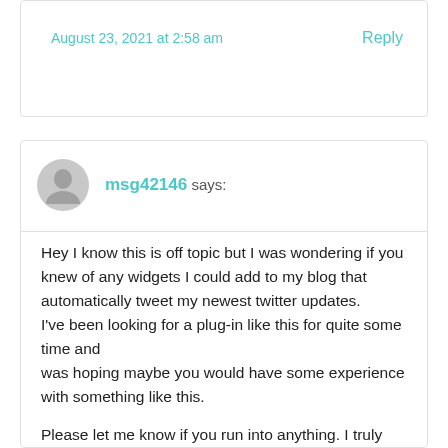August 23, 2021 at 2:58 am
Reply
msg42146 says:
Hey I know this is off topic but I was wondering if you knew of any widgets I could add to my blog that automatically tweet my newest twitter updates. I've been looking for a plug-in like this for quite some time and was hoping maybe you would have some experience with something like this.

Please let me know if you run into anything. I truly enjoy reading your blog and I look forward to your new updates.